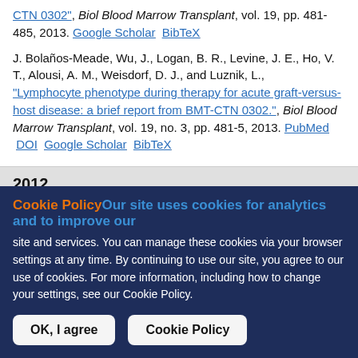CTN 0302", Biol Blood Marrow Transplant, vol. 19, pp. 481-485, 2013. Google Scholar BibTeX
J. Bolaños-Meade, Wu, J., Logan, B. R., Levine, J. E., Ho, V. T., Alousi, A. M., Weisdorf, D. J., and Luznik, L., "Lymphocyte phenotype during therapy for acute graft-versus-host disease: a brief report from BMT-CTN 0302.", Biol Blood Marrow Transplant, vol. 19, no. 3, pp. 481-5, 2013. PubMed DOI Google Scholar BibTeX
2012
Cookie PolicyOur site uses cookies for analytics and to improve our site and services. You can manage these cookies via your browser settings at any time. By continuing to use our site, you agree to our use of cookies. For more information, including how to change your settings, see our Cookie Policy.
OK, I agree
Cookie Policy